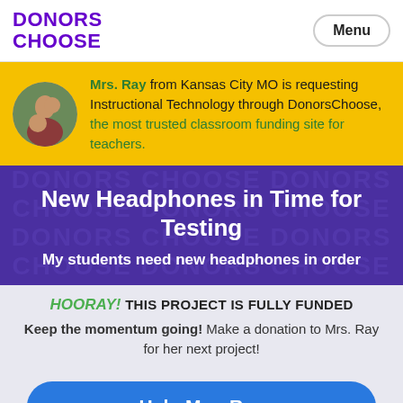DONORS CHOOSE
Mrs. Ray from Kansas City MO is requesting Instructional Technology through DonorsChoose, the most trusted classroom funding site for teachers.
New Headphones in Time for Testing
My students need new headphones in order
HOORAY! THIS PROJECT IS FULLY FUNDED
Keep the momentum going! Make a donation to Mrs. Ray for her next project!
Help Mrs. Ray